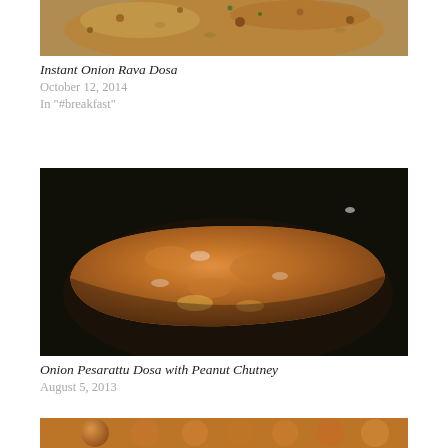[Figure (photo): Top portion of a food photo showing Instant Onion Rava Dosa on a dark pan, cropped at top of page]
Instant Onion Rava Dosa
October 12, 2014
In "#breakfast"
[Figure (photo): Photo of Onion Pesarattu Dosa folded in half on a dark pan, golden-brown color]
Onion Pesarattu Dosa with Peanut Chutney
August 5, 2013
[Figure (photo): Partial view of a third food item at the bottom of the page, cropped]